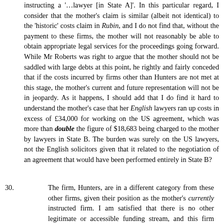instructing a '…lawyer [in State A]'. In this particular regard, I consider that the mother's claim is similar (albeit not identical) to the 'historic' costs claim in Rubin, and I do not find that, without the payment to these firms, the mother will not reasonably be able to obtain appropriate legal services for the proceedings going forward. While Mr Roberts was right to argue that the mother should not be saddled with large debts at this point, he rightly and fairly conceded that if the costs incurred by firms other than Hunters are not met at this stage, the mother's current and future representation will not be in jeopardy. As it happens, I should add that I do find it hard to understand the mother's case that her English lawyers ran up costs in excess of £34,000 for working on the US agreement, which was more than double the figure of $18,683 being charged to the mother by lawyers in State B. The burden was surely on the US lawyers, not the English solicitors given that it related to the negotiation of an agreement that would have been performed entirely in State B?
30. The firm, Hunters, are in a different category from these other firms, given their position as the mother's currently instructed firm. I am satisfied that there is no other legitimate or accessible funding stream, and this firm should not carry a significant debt in working for the mother unpaid; the firm is not a charity, nor it is a credit agent, and